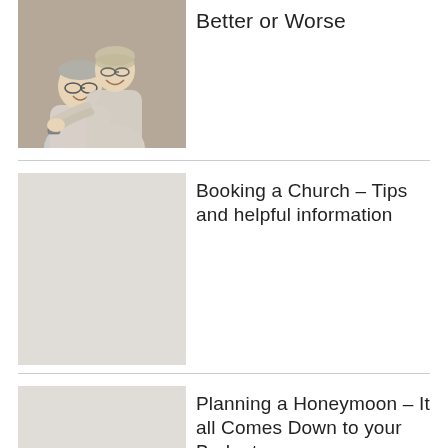[Figure (photo): Elderly couple smiling and embracing, woman standing behind man with arms around him]
Better or Worse
[Figure (photo): Gray placeholder image for Booking a Church article]
Booking a Church – Tips and helpful information
[Figure (photo): Gray placeholder image for Planning a Honeymoon article]
Planning a Honeymoon – It all Comes Down to your Budget